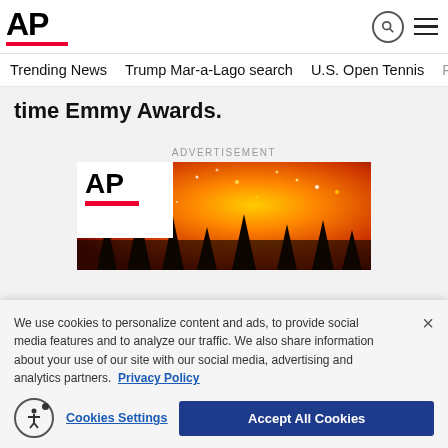[Figure (logo): AP (Associated Press) logo with red underline bar]
Trending News   Trump Mar-a-Lago search   U.S. Open Tennis
time Emmy Awards.
ADVERTISEMENT
[Figure (photo): AP logo overlay on a wildfire photo showing burning forest with orange flames]
We use cookies to personalize content and ads, to provide social media features and to analyze our traffic. We also share information about your use of our site with our social media, advertising and analytics partners. Privacy Policy
Cookies Settings   Accept All Cookies